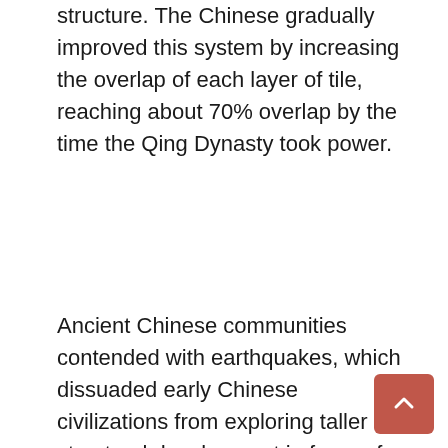structure. The Chinese gradually improved this system by increasing the overlap of each layer of tile, reaching about 70% overlap by the time the Qing Dynasty took power.
Ancient Chinese communities contended with earthquakes, which dissuaded early Chinese civilizations from exploring taller structural development in favor of single-story, longer dwellings and public structures. This led to a gable and hip roof construction that evolved steadily through the Song Dynasty's rise. Ancient Chinese buildings also did not use load-bearing walls and relied on a pillar support system instead. This led to incredibly innovative roofing techniques such as the "duogong" or cap-and-